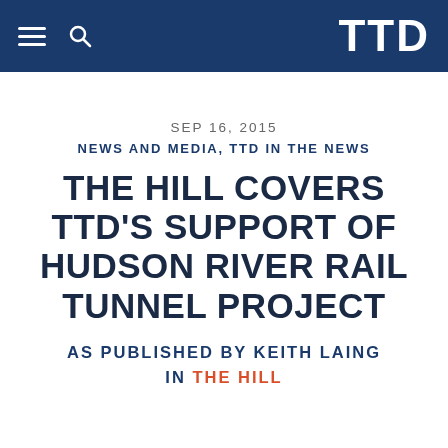TTD
SEP 16, 2015
NEWS AND MEDIA, TTD IN THE NEWS
THE HILL COVERS TTD'S SUPPORT OF HUDSON RIVER RAIL TUNNEL PROJECT
AS PUBLISHED BY KEITH LAING IN THE HILL